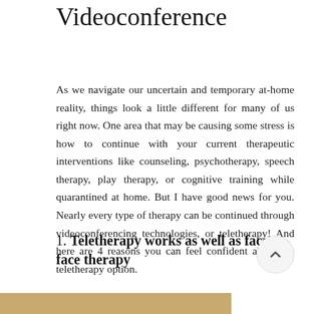Videoconference
As we navigate our uncertain and temporary at-home reality, things look a little different for many of us right now. One area that may be causing some stress is how to continue with your current therapeutic interventions like counseling, psychotherapy, speech therapy, play therapy, or cognitive training while quarantined at home. But I have good news for you. Nearly every type of therapy can be continued through videoconferencing technologies, or teletherapy! And here are 4 reasons you can feel confident about the teletherapy option.
1. Teletherapy works as well as face-to-face therapy